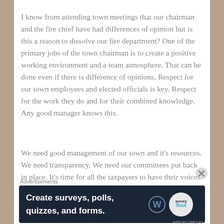I know from attending town meetings that our chairman and the fire chief have had differences of opinion but is this a reason to dissolve our fire department? One of the primary jobs of the town chairman is to create a positive working environment and a team atmosphere. That can be done even if there is difference of opinions. Respect for our town employees and elected officials is key. Respect for the work they do and for their combined knowledge. Any good manager knows this.
We need good management of our town and it's resources. We need transparency. We need our committees put back in place. It's time for all the taxpayers to have their voices heard.
If you are unable to attend town meetings and you don't
Advertisements
[Figure (other): Dark navy advertisement banner reading 'Create surveys, polls, quizzes, and forms.' with WordPress and SurveyMonkey logos on the right.]